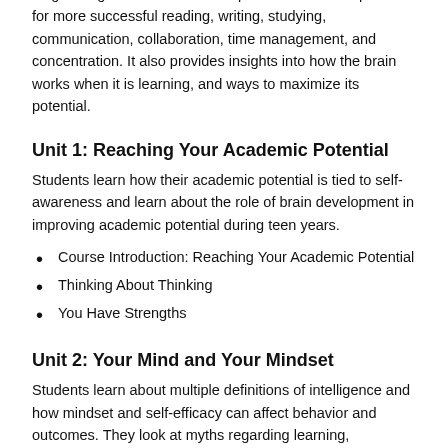Students learn essential academic skills within the context of their learning style, individual learning environment, and long-term goals. This course helps students develop habits for more successful reading, writing, studying, communication, collaboration, time management, and concentration. It also provides insights into how the brain works when it is learning, and ways to maximize its potential.
Unit 1: Reaching Your Academic Potential
Students learn how their academic potential is tied to self-awareness and learn about the role of brain development in improving academic potential during teen years.
Course Introduction: Reaching Your Academic Potential
Thinking About Thinking
You Have Strengths
Unit 2: Your Mind and Your Mindset
Students learn about multiple definitions of intelligence and how mindset and self-efficacy can affect behavior and outcomes. They look at myths regarding learning, achievement, success, college, and career.